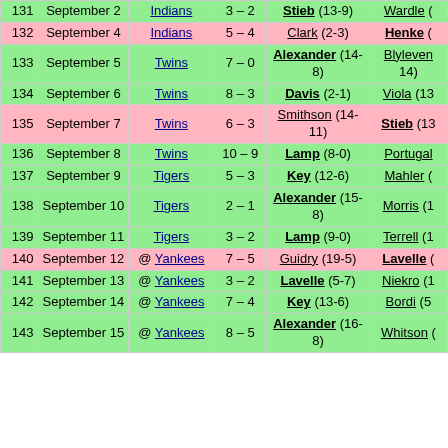| # | Date | Opponent | Score | Win | Loss |
| --- | --- | --- | --- | --- | --- |
| 131 | September 2 | Indians | 3 – 2 | Stieb (13-9) | Wardle (… |
| 132 | September 4 | Indians | 5 – 4 | Clark (2-3) | Henke (… |
| 133 | September 5 | Twins | 7 – 0 | Alexander (14-8) | Blyleven 14) |
| 134 | September 6 | Twins | 8 – 3 | Davis (2-1) | Viola (13… |
| 135 | September 7 | Twins | 6 – 3 | Smithson (14-11) | Stieb (13… |
| 136 | September 8 | Twins | 10 – 9 | Lamp (8-0) | Portugal… |
| 137 | September 9 | Tigers | 5 – 3 | Key (12-6) | Mahler (… |
| 138 | September 10 | Tigers | 2 – 1 | Alexander (15-8) | Morris (1… |
| 139 | September 11 | Tigers | 3 – 2 | Lamp (9-0) | Terrell (1… |
| 140 | September 12 | @ Yankees | 7 – 5 | Guidry (19-5) | Lavelle (… |
| 141 | September 13 | @ Yankees | 3 – 2 | Lavelle (5-7) | Niekro (1… |
| 142 | September 14 | @ Yankees | 7 – 4 | Key (13-6) | Bordi (5… |
| 143 | September 15 | @ Yankees | 8 – 5 | Alexander (16-8) | Whitson (… |